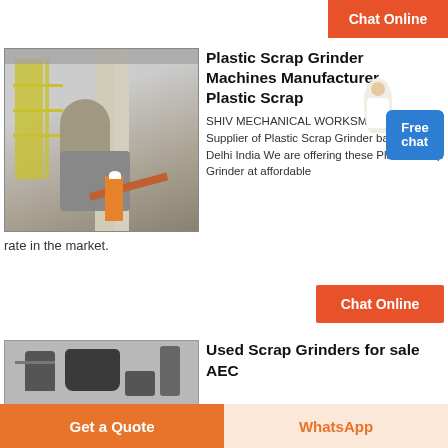Chat Online
[Figure (photo): Industrial plastic scrap grinder machine in a factory/warehouse setting, with scaffolding, large industrial columns, machinery, and a worker in orange safety vest and white helmet.]
Plastic Scrap Grinder Machines Manufacturer Plastic Scrap
SHIV MECHANICAL WORKSManufacturer Supplier of Plastic Scrap Grinder based in Delhi India We are offering these Plastic Scrap Grinder at affordable rate in the market.
Chat Online
[Figure (photo): Used scrap grinder machine, grey/dark colored industrial equipment.]
Used Scrap Grinders for sale AEC
Get a Quote
WhatsApp